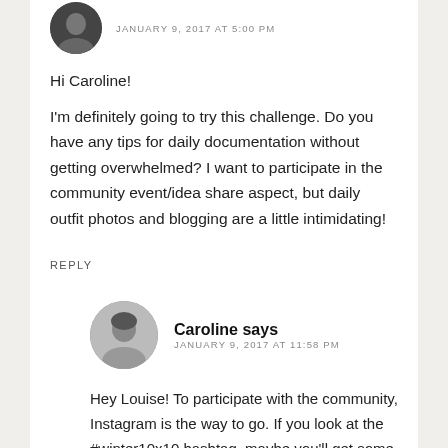JANUARY 9, 2017 AT 5:00 PM
Hi Caroline!
I'm definitely going to try this challenge. Do you have any tips for daily documentation without getting overwhelmed? I want to participate in the community event/idea share aspect, but daily outfit photos and blogging are a little intimidating!
REPLY
Caroline says
JANUARY 9, 2017 AT 11:58 PM
Hey Louise! To participate with the community, Instagram is the way to go. If you look at the #winter10x10 hashtag, maybe you'll get some